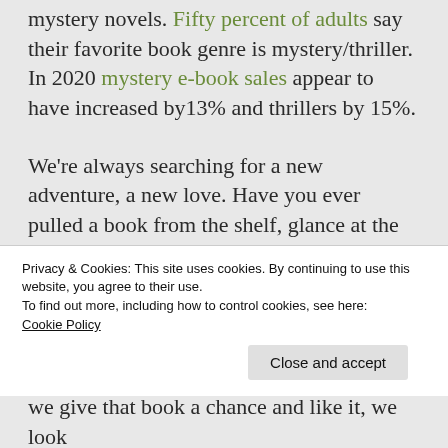mystery novels. Fifty percent of adults say their favorite book genre is mystery/thriller. In 2020 mystery e-book sales appear to have increased by13% and thrillers by 15%.
We're always searching for a new adventure, a new love. Have you ever pulled a book from the shelf, glance at the back cover, then (with hope in your heart) the first page, and then pushed the book back on the shelf, sure this one won't do? I have, so many times. Same
Privacy & Cookies: This site uses cookies. By continuing to use this website, you agree to their use.
To find out more, including how to control cookies, see here: Cookie Policy
Close and accept
we give that book a chance and like it, we look